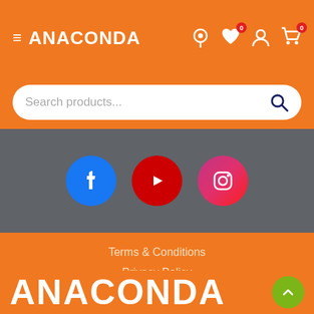≡ ANACONDA
Search products...
[Figure (screenshot): Social media icons row: Facebook (blue circle), YouTube (red circle), Instagram (pink/magenta circle)]
Terms & Conditions
Privacy Policy
© Anaconda Group Pty Ltd 2022
ANACONDA